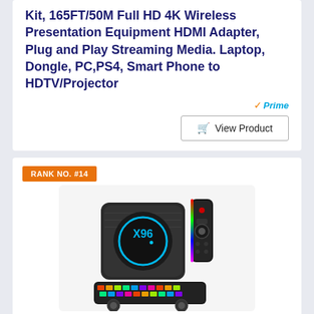Kit, 165FT/50M Full HD 4K Wireless Presentation Equipment HDMI Adapter, Plug and Play Streaming Media. Laptop, Dongle, PC,PS4, Smart Phone to HDTV/Projector
[Figure (logo): Amazon Prime badge with checkmark and italic 'Prime' text in blue]
View Product
RANK NO. #14
[Figure (photo): X96 X4 Android TV Box with remote control and RGB backlit mini keyboard. The box has a circular X96 logo with blue LED ring.]
Android TV Box 11.0, X96 X4 Android 11 TV Box 4GB RAM 64GB ROM Amlogic S905X4 Quad-